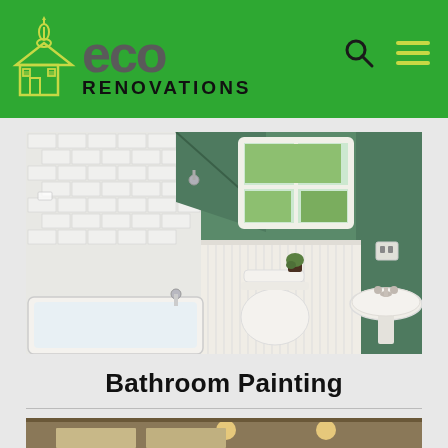eco RENOVATIONS
[Figure (photo): Renovated bathroom with white subway tile walls, bathtub, toilet, and pedestal sink; green painted upper walls and a window with outdoor greenery visible]
Bathroom Painting
[Figure (photo): Partial view of another room with ceiling lights, appears to be a kitchen or bathroom with cabinetry]